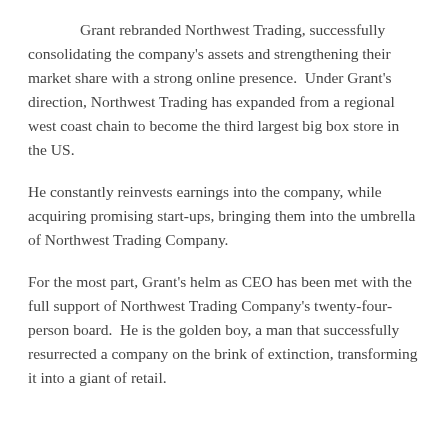Grant rebranded Northwest Trading, successfully consolidating the company's assets and strengthening their market share with a strong online presence. Under Grant's direction, Northwest Trading has expanded from a regional west coast chain to become the third largest big box store in the US.
He constantly reinvests earnings into the company, while acquiring promising start-ups, bringing them into the umbrella of Northwest Trading Company.
For the most part, Grant's helm as CEO has been met with the full support of Northwest Trading Company's twenty-four-person board. He is the golden boy, a man that successfully resurrected a company on the brink of extinction, transforming it into a giant of retail.